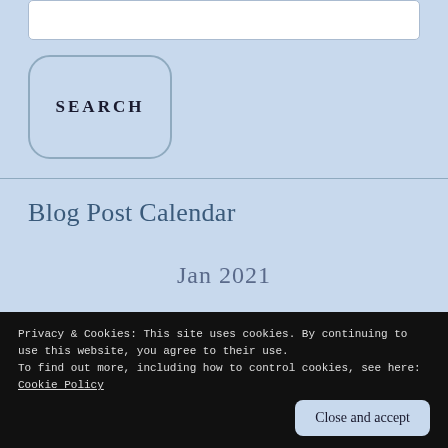SEARCH
Blog Post Calendar
Jan 2021
Privacy & Cookies: This site uses cookies. By continuing to use this website, you agree to their use.
To find out more, including how to control cookies, see here: Cookie Policy
Close and accept